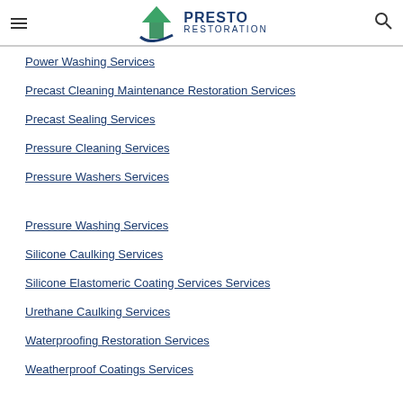Presto Restoration
Power Washing Services
Precast Cleaning Maintenance Restoration Services
Precast Sealing Services
Pressure Cleaning Services
Pressure Washers Services
Pressure Washing Services
Silicone Caulking Services
Silicone Elastomeric Coating Services Services
Urethane Caulking Services
Waterproofing Restoration Services
Weatherproof Coatings Services